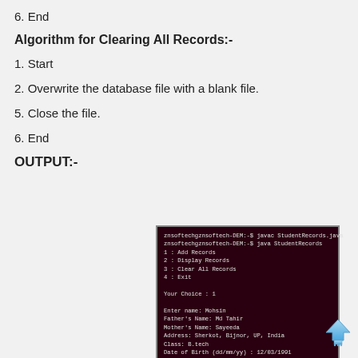6. End
Algorithm for Clearing All Records:-
1. Start
2. Overwrite the database file with a blank file.
5. Close the file.
6. End
OUTPUT:-
[Figure (screenshot): Terminal window showing compilation and execution of StudentRecords.java with menu options (Add Records, Display Records, Clear All Records, Exit), user input of choice 1, and entry of student data including name Mohsin, Father's Name Md Tahir, Mother's Name Sayeeda, Address Sherkot Bijnor UP India, Class B.tech, Date of Birth 12/03/1991, Age 24, Telephone No. 8527801400, and message Records added successfully.]